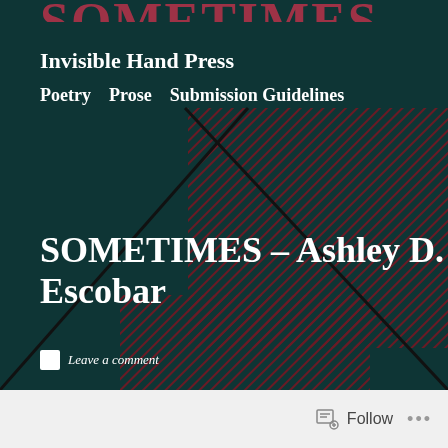Invisible Hand Press
Poetry   Prose   Submission Guidelines
[Figure (illustration): Abstract decorative graphic with dark teal background, two overlapping hatched/striped diagonal rectangles in dark red, and two diagonal crossing black lines forming an X shape.]
SOMETIMES – Ashley D. Escobar
Leave a comment
Follow ...